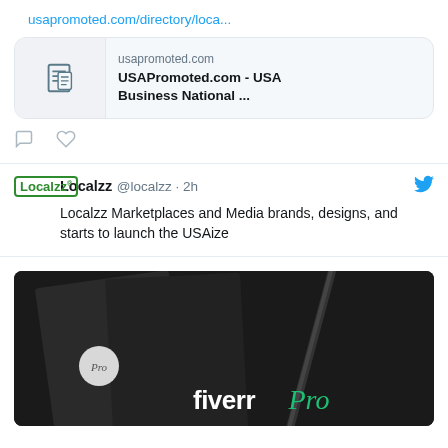usapromoted.com/directory/loca...
[Figure (screenshot): Link preview card showing a newspaper/document icon on the left, domain 'usapromoted.com' and title 'USAPromoted.com - USA Business National ...' on the right]
[Figure (infographic): Comment and like action icons below tweet]
Localzz @localzz · 2h
Localzz Marketplaces and Media brands, designs, and starts to launch the USAize
[Figure (screenshot): Fiverr Pro promotional image showing dark notebooks and a pen on a dark background with 'fiverr Pro' text in white and green]